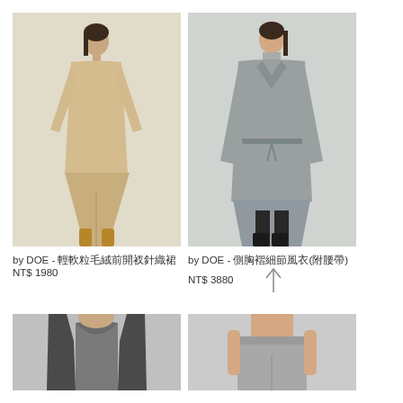[Figure (photo): Fashion model wearing beige/cream knit sweater and long slit skirt with tan boots, standing against light grey background]
[Figure (photo): Fashion model wearing grey trench coat with waist tie and side chest pleat detail, black boots, against light grey background]
by DOE - 輕軟粒毛絨前開衩針織裙
NT$ 1980
by DOE - 側胸褶細節風衣(附腰帶)
NT$ 3880
[Figure (photo): Fashion model wearing dark grey/charcoal open cardigan over a grey bodysuit or top, cropped view showing upper body]
[Figure (photo): Fashion model wearing grey relaxed wide-leg pants with elastic waist, cropped view showing midsection and pants]